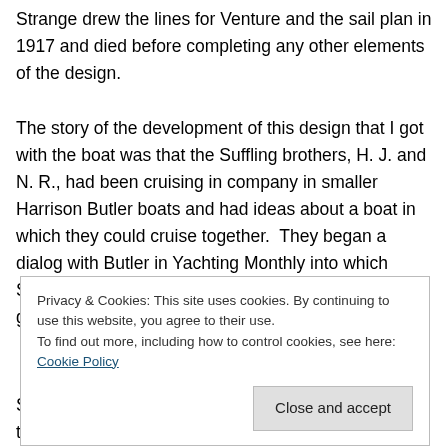Strange drew the lines for Venture and the sail plan in 1917 and died before completing any other elements of the design.

The story of the development of this design that I got with the boat was that the Suffling brothers, H. J. and N. R., had been cruising in company in smaller Harrison Butler boats and had ideas about a boat in which they could cruise together.  They began a dialog with Butler in Yachting Monthly into which Strange entered.  Butler suggested that the Sufflings get Strange to refine and
Privacy & Cookies: This site uses cookies. By continuing to use this website, you agree to their use.
To find out more, including how to control cookies, see here: Cookie Policy
Close and accept
Suffling (who's sketched lines for Venture were given to